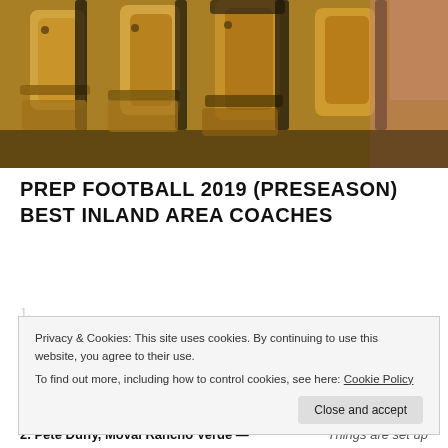[Figure (photo): Close-up photo of wooden/tan auditorium or theater chairs with black metal frames, slightly blurred background]
PREP FOOTBALL 2019 (PRESEASON)
BEST INLAND AREA COACHES
Privacy & Cookies: This site uses cookies. By continuing to use this website, you agree to their use.
To find out more, including how to control cookies, see here: Cookie Policy
Close and accept
2. Pete Duffy, Moval Rancho Verde — Things are set up